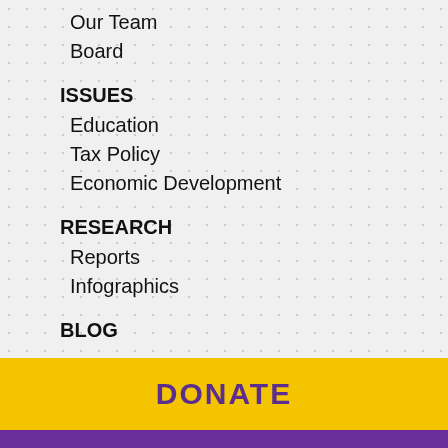Our Team
Board
ISSUES
Education
Tax Policy
Economic Development
RESEARCH
Reports
Infographics
BLOG
UPCOMING EVENTS
CONTACT
DONATE